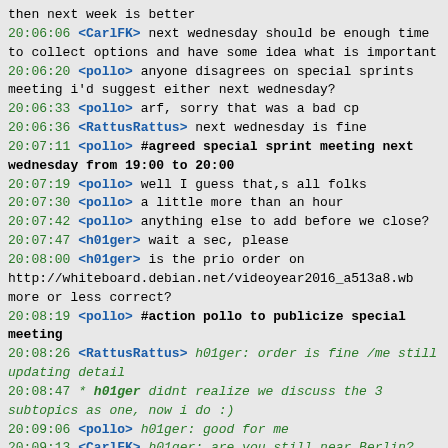then next week is better
20:06:06 <CarlFK> next wednesday should be enough time to collect options and have some idea what is important
20:06:20 <pollo> anyone disagrees on special sprints meeting i'd suggest either next wednesday?
20:06:33 <pollo> arf, sorry that was a bad cp
20:06:36 <RattusRattus> next wednesday is fine
20:07:11 <pollo> #agreed special sprint meeting next wednesday from 19:00 to 20:00
20:07:19 <pollo> well I guess that,s all folks
20:07:30 <pollo> a little more than an hour
20:07:42 <pollo> anything else to add before we close?
20:07:47 <h01ger> wait a sec, please
20:08:00 <h01ger> is the prio order on http://whiteboard.debian.net/videoyear2016_a513a8.wb more or less correct?
20:08:19 <pollo> #action pollo to publicize special meeting
20:08:26 <RattusRattus> h01ger: order is fine /me still updating detail
20:08:47 * h01ger didnt realize we discuss the 3 subtopics as one, now i do :)
20:09:06 <pollo> h01ger: good for me
20:09:13 <CarlFK> h01ger: are you still near Berlin?
20:09:16 * h01ger is fine with closing the meeting then and is also very happy about this fine meeting
20:09:23 <h01ger> CarlFK: <2h by train
20:09:28 <h01ger> hourly
20:09:34 <pollo> #endmeeting